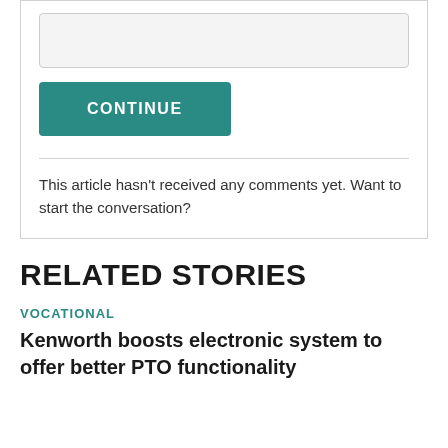[Figure (other): Input text field (empty, light gray background)]
CONTINUE
This article hasn't received any comments yet. Want to start the conversation?
RELATED STORIES
VOCATIONAL
Kenworth boosts electronic system to offer better PTO functionality